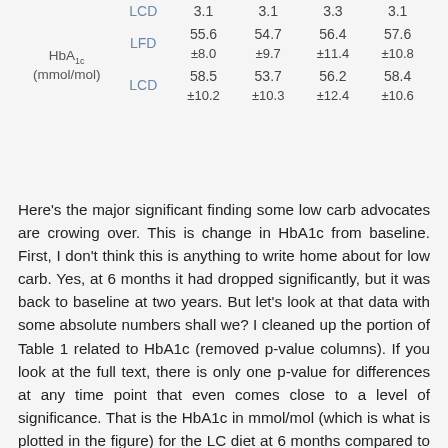|  |  | Baseline | 6 months | 12 months | 24 months |
| --- | --- | --- | --- | --- | --- |
|  | LCD | 3.1 | 3.1 | 3.3 | 3.1 |
| HbA1c (mmol/mol) | LFD | 55.6 ±8.0 | 54.7 ±9.7 | 56.4 ±11.4 | 57.6 ±10.8 |
| HbA1c (mmol/mol) | LCD | 58.5 ±10.2 | 53.7 ±10.3 | 56.2 ±12.4 | 58.4 ±10.6 |
Here's the major significant finding some low carb advocates are crowing over. This is change in HbA1c from baseline. First, I don't think this is anything to write home about for low carb. Yes, at 6 months it had dropped significantly, but it was back to baseline at two years. But let's look at that data with some absolute numbers shall we? I cleaned up the portion of Table 1 related to HbA1c (removed p-value columns). If you look at the full text, there is only one p-value for differences at any time point that even comes close to a level of significance. That is the HbA1c in mmol/mol (which is what is plotted in the figure) for the LC diet at 6 months compared to baseline. And if one looks at the HbA1c more commonly measured, we're talking no real impact whatsoever! It seems